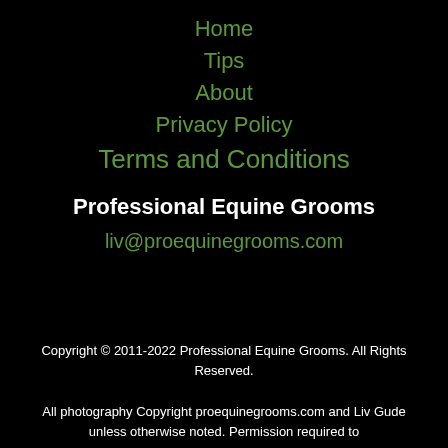Home
Tips
About
Privacy Policy
Terms and Conditions
Professional Equine Grooms
liv@proequinegrooms.com
Copyright © 2011-2022 Professional Equine Grooms. All Rights Reserved.

All photography Copyright proequinegrooms.com and Liv Gude unless otherwise noted. Permission required to